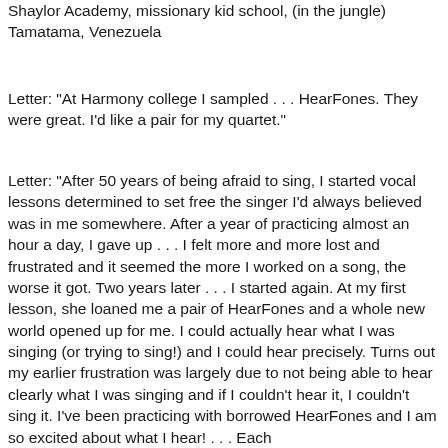Shaylor Academy, missionary kid school, (in the jungle) Tamatama, Venezuela
Letter: "At Harmony college I sampled . . . HearFones. They were great. I'd like a pair for my quartet."
Letter: "After 50 years of being afraid to sing, I started vocal lessons determined to set free the singer I'd always believed was in me somewhere. After a year of practicing almost an hour a day, I gave up . . . I felt more and more lost and frustrated and it seemed the more I worked on a song, the worse it got. Two years later . . . I started again. At my first lesson, she loaned me a pair of HearFones and a whole new world opened up for me. I could actually hear what I was singing (or trying to sing!) and I could hear precisely. Turns out my earlier frustration was largely due to not being able to hear clearly what I was singing and if I couldn't hear it, I couldn't sing it. I've been practicing with borrowed HearFones and I am so excited about what I hear! . . . Each